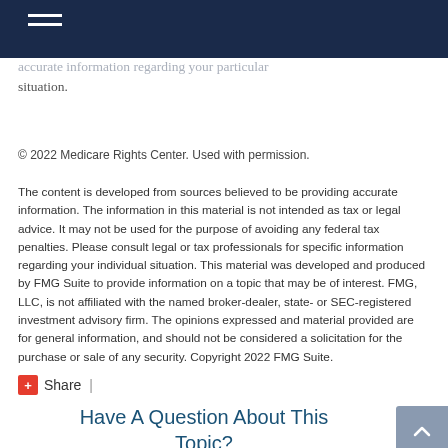accurate information regarding your particular situation.
© 2022 Medicare Rights Center. Used with permission.
The content is developed from sources believed to be providing accurate information. The information in this material is not intended as tax or legal advice. It may not be used for the purpose of avoiding any federal tax penalties. Please consult legal or tax professionals for specific information regarding your individual situation. This material was developed and produced by FMG Suite to provide information on a topic that may be of interest. FMG, LLC, is not affiliated with the named broker-dealer, state- or SEC-registered investment advisory firm. The opinions expressed and material provided are for general information, and should not be considered a solicitation for the purchase or sale of any security. Copyright 2022 FMG Suite.
Share |
Have A Question About This Topic?